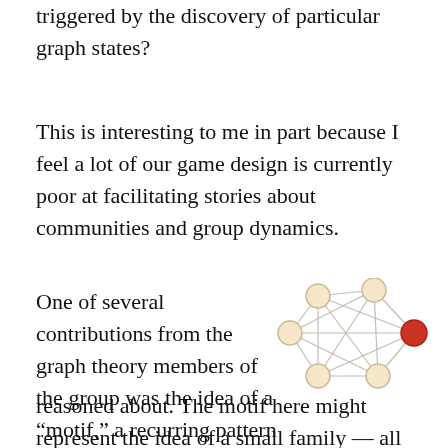triggered by the discovery of particular graph states?
This is interesting to me in part because I feel a lot of our game design is currently poor at facilitating stories about communities and group dynamics.
One of several contributions from the graph theory members of the group was the idea of a “motif,” a recurring pattern from within a larger graph, which could be reasoned about. The motif here might represent the idea of a small family — all the
[Figure (network-graph): A small network graph motif with 6 nodes arranged in a roughly pentagonal/circular pattern with one red-highlighted node on the right side and edges connecting all nodes to each other.]